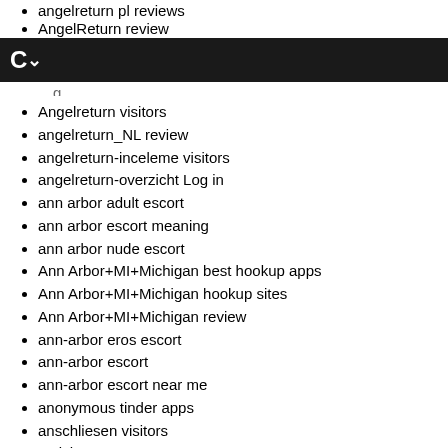angelreturn pl reviews
AngelReturn review
C~
(partial item cut off)
Angelreturn visitors
angelreturn_NL review
angelreturn-inceleme visitors
angelreturn-overzicht Log in
ann arbor adult escort
ann arbor escort meaning
ann arbor nude escort
Ann Arbor+MI+Michigan best hookup apps
Ann Arbor+MI+Michigan hookup sites
Ann Arbor+MI+Michigan review
ann-arbor eros escort
ann-arbor escort
ann-arbor escort near me
anonymous tinder apps
anschliesen visitors
antichat app
antichat come funziona
antichat crediti gratuiti
antichat cs reviews
antichat de reviews
antichat es review
antichat pl review (partial)